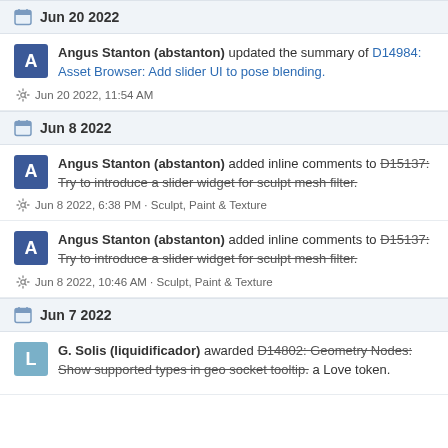Jun 20 2022
Angus Stanton (abstanton) updated the summary of D14984: Asset Browser: Add slider UI to pose blending.
Jun 20 2022, 11:54 AM
Jun 8 2022
Angus Stanton (abstanton) added inline comments to D15137: Try to introduce a slider widget for sculpt mesh filter.
Jun 8 2022, 6:38 PM · Sculpt, Paint & Texture
Angus Stanton (abstanton) added inline comments to D15137: Try to introduce a slider widget for sculpt mesh filter.
Jun 8 2022, 10:46 AM · Sculpt, Paint & Texture
Jun 7 2022
G. Solis (liquidificador) awarded D14802: Geometry Nodes: Show supported types in geo socket tooltip. a Love token.